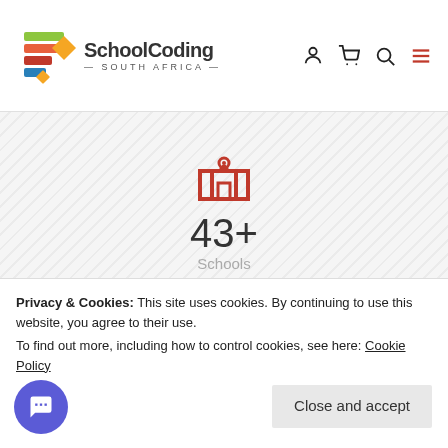[Figure (logo): SchoolCoding South Africa logo with colorful geometric shapes and text]
[Figure (illustration): Red school/graduation building icon]
43+
Schools
[Figure (illustration): Red monitor/computer screen icon]
400+
Privacy & Cookies: This site uses cookies. By continuing to use this website, you agree to their use. To find out more, including how to control cookies, see here: Cookie Policy
Close and accept